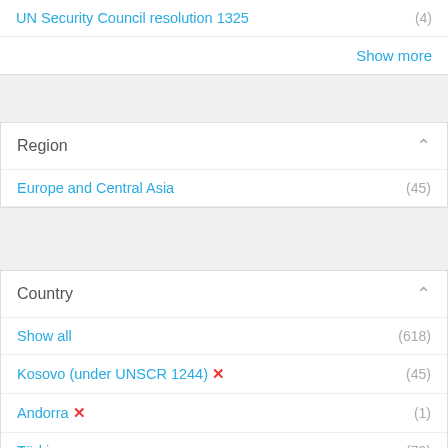UN Security Council resolution 1325 (4)
Show more
Region
Europe and Central Asia (45)
Country
Show all (618)
Kosovo (under UNSCR 1244) ✗ (45)
Andorra ✗ (1)
Türkiye (79)
Bosnia and Herzegovina (73)
Ukraine (59)
Albania (55)